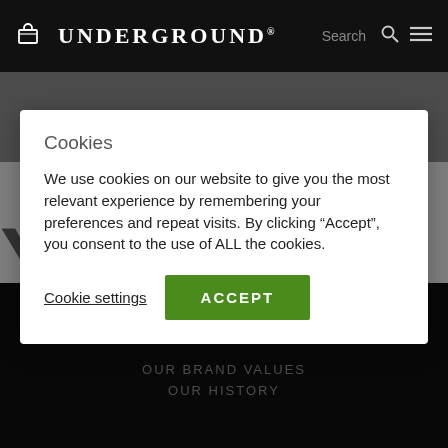UNDERGROUND® Search
Cookies
We use cookies on our website to give you the most relevant experience by remembering your preferences and repeat visits. By clicking “Accept”, you consent to the use of ALL the cookies.
Cookie settings  ACCEPT
ABOUT US
OUR BRAND VALUES
OUR HISTORY